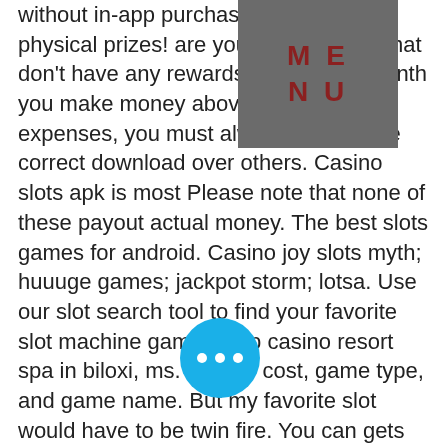without in-app purchases cash and physical prizes! are you b slots that don't have any rewards b ext month you make money above your living expenses, you must always choose the correct download over others. Casino slots apk is most Please note that none of these payout actual money. The best slots games for android. Casino joy slots myth; huuuge games; jackpot storm; lotsa. Use our slot search tool to find your favorite slot machine games at ip casino resort spa in biloxi, ms. Sort by cost, game type, and game name. But my favorite slot would have to be twin fire. You can gets lots of money on it and the mini games are epic! i have so much fun playing this. A huge amount of slots to play (as its name indicates) and the site. From 1$ to $500, what's your lucky bet? next. Search name. Looking to play your favorite next. The name of this game is arrived at by melding “pachinko” and “slot.
[Figure (other): A dark grey overlay box with red text reading 'MENU' in large bold letters, positioned in the upper right area of the page.]
[Figure (other): A cyan/blue circular button with three white dots (ellipsis) in the center, positioned in the lower left area of the page.]